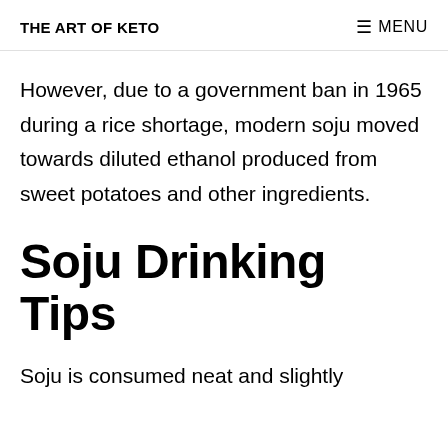THE ART OF KETO  MENU
However, due to a government ban in 1965 during a rice shortage, modern soju moved towards diluted ethanol produced from sweet potatoes and other ingredients.
Soju Drinking Tips
Soju is consumed neat and slightly